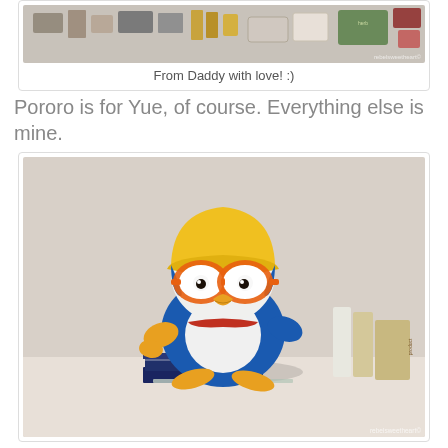[Figure (photo): Top portion of a photo showing various products/gifts laid out on a table, with a watermark reading 'rebelsweetheart©']
From Daddy with love! :)
Pororo is for Yue, of course. Everything else is mine.
[Figure (photo): A Pororo plush toy (penguin character with orange glasses, yellow helmet, blue outfit) sitting on a book surrounded by various products, with watermark 'rebelsweetheart©']